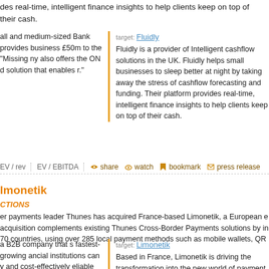des real-time, intelligent finance insights to help clients keep on top of their cash.
target: Fluidly
Fluidly is a provider of Intelligent cashflow solutions in the UK. Fluidly helps small businesses to sleep better at night by taking away the stress of cashflow forecasting and funding. Their platform provides real-time, intelligent finance insights to help clients keep on top of their cash.
all and medium-sized Bank provides business £50m to the "Missing ny also offers the ON d solution that enables r."
EV / rev | EV / EBITDA | share | watch | bookmark | press release
lmonetik
CTIONS
er payments leader Thunes has acquired France-based Limonetik, a European e acquisition complements existing Thunes Cross-Border Payments solutions by in 70 countries, using over 285 local payment methods such as mobile wallets, QR
target: Limonetik
Based in France, Limonetik is driving the transformation into the new world of payment for merchants and marketplaces. Limonetik's payments method platform supports over 285 local and alternative payment methods, such as mobile wallets, payment by
a B2B company that s fastest-growing ancial institutions can y and cost-effectively eliable and far-reaching